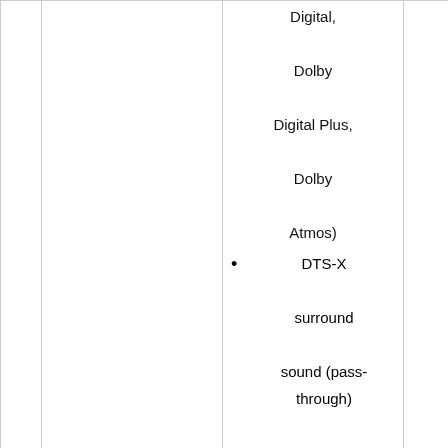Digital, Dolby Digital Plus, Dolby Atmos)
DTS-X surround sound (pass-through) over HDMIHigh-resolution audio playback up to 24-bit/192 kHz over
MEPG, HE-ACC, AAC, OGG, FLAC, OGA, ALAC,